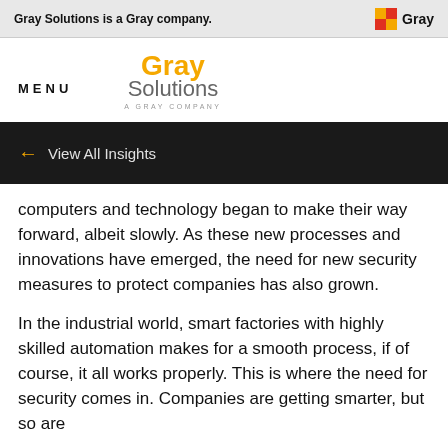Gray Solutions is a Gray company.
MENU
Gray Solutions — A Gray Company
← View All Insights
computers and technology began to make their way forward, albeit slowly. As these new processes and innovations have emerged, the need for new security measures to protect companies has also grown.
In the industrial world, smart factories with highly skilled automation makes for a smooth process, if of course, it all works properly. This is where the need for security comes in. Companies are getting smarter, but so are